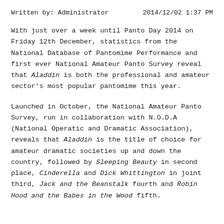Written by: Administrator    2014/12/02 1:37 PM
With just over a week until Panto Day 2014 on Friday 12th December, statistics from the National Database of Pantomime Performance and first ever National Amateur Panto Survey reveal that Aladdin is both the professional and amateur sector's most popular pantomime this year.
Launched in October, the National Amateur Panto Survey, run in collaboration with N.O.D.A (National Operatic and Dramatic Association), reveals that Aladdin is the title of choice for amateur dramatic societies up and down the country, followed by Sleeping Beauty in second place, Cinderella and Dick Whittington in joint third, Jack and the Beanstalk fourth and Robin Hood and the Babes in the Wood fifth.